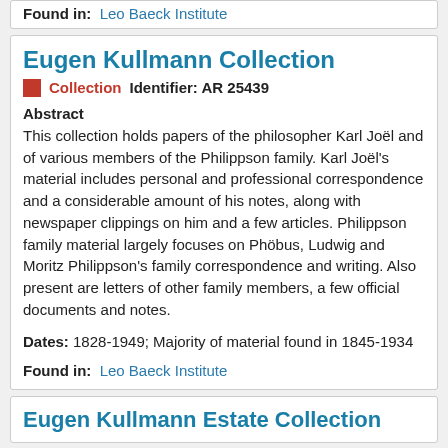Found in:  Leo Baeck Institute
Eugen Kullmann Collection
Collection   Identifier: AR 25439
Abstract
This collection holds papers of the philosopher Karl Joël and of various members of the Philippson family. Karl Joël's material includes personal and professional correspondence and a considerable amount of his notes, along with newspaper clippings on him and a few articles. Philippson family material largely focuses on Phöbus, Ludwig and Moritz Philippson's family correspondence and writing. Also present are letters of other family members, a few official documents and notes.
Dates: 1828-1949; Majority of material found in 1845-1934
Found in:  Leo Baeck Institute
Eugen Kullmann Estate Collection